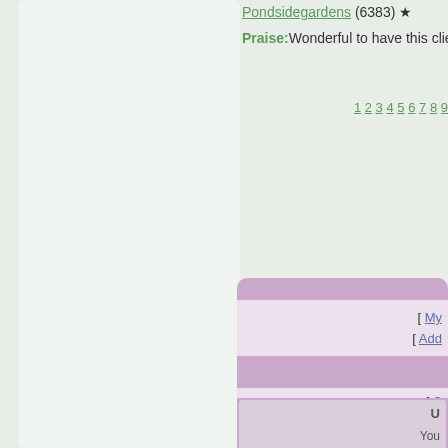Pondsidegardens (6383) [bookmark icon]
Praise:Wonderful to have this clie...
1 2 3 4 5 6 7 8 9
[ My...
[ Add ...
[ S...
[ All...
U...
You...